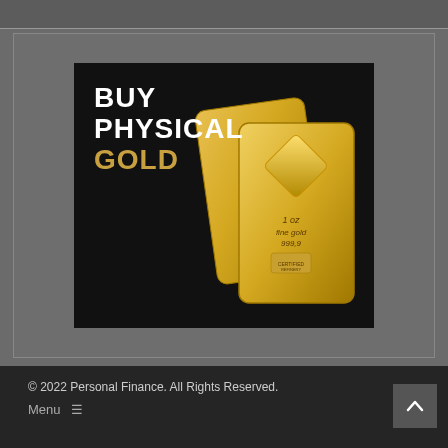[Figure (illustration): Advertisement image showing two Valcambi Suisse gold bars (1 oz fine gold 999.9) on a dark background with the text BUY PHYSICAL GOLD in white and gold letters]
© 2022 Personal Finance. All Rights Reserved.
Menu ≡